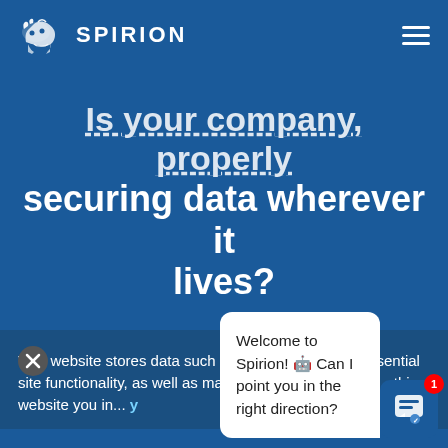[Figure (logo): Spirion logo with animal icon and SPIRION text in white on dark blue background]
Is your company properly securing data wherever it lives?
[Figure (screenshot): Cookie consent bar: This website stores data such as cookies to enable essential site functionality, as well as marketing, personalization... with close button]
[Figure (screenshot): Chat widget bubble: Welcome to Spirion! Can I point you in the right direction? with chat icon showing badge count 1]